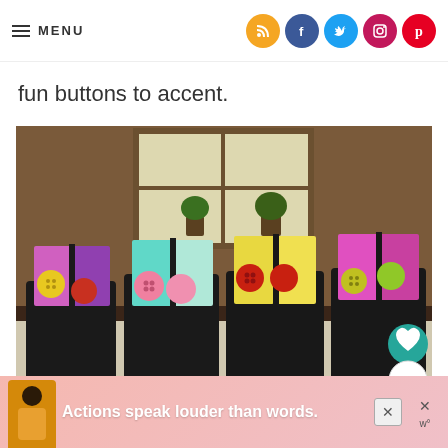MENU [social icons: RSS, Facebook, Twitter, Instagram, Pinterest]
fun buttons to accent.
[Figure (photo): Four black tote bags displayed on a table, each with colorful fabric pockets and large decorative buttons. Background shows a room with a window.]
Actions speak louder than words.